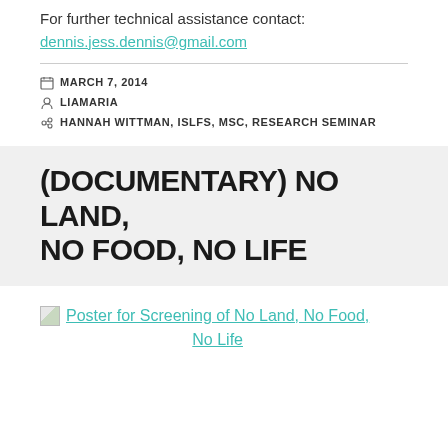For further technical assistance contact: dennis.jess.dennis@gmail.com
MARCH 7, 2014
LIAMARIA
HANNAH WITTMAN, ISLFS, MSC, RESEARCH SEMINAR
(DOCUMENTARY) NO LAND, NO FOOD, NO LIFE
Poster for Screening of No Land, No Food, No Life